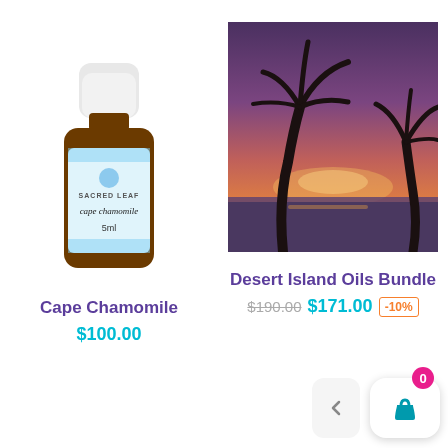[Figure (photo): Small dark amber glass bottle with white cap labeled 'SACRED LEAF cape chamomile 5ml']
[Figure (photo): Tropical sunset photo with silhouetted palm trees against an orange and purple sky over the ocean]
Cape Chamomile
$100.00
Desert Island Oils Bundle
$190.00  $171.00  -10%